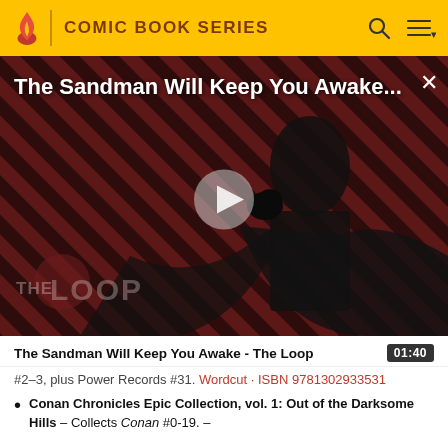COMIC BOOK SERIES
[Figure (screenshot): Video thumbnail showing The Sandman character in black costume against a red and black diagonal stripe background with 'THE LOOP' watermark. Video title overlay reads 'The Sandman Will Keep You Awake...' with a play button in the center and a close (X) button top right.]
The Sandman Will Keep You Awake - The Loop  01:40
#2-3, plus Power Records #31. Wordcut · ISBN 9781302933531
Conan Chronicles Epic Collection, vol. 1: Out of the Darksome Hills - Collects Conan #0-19. -